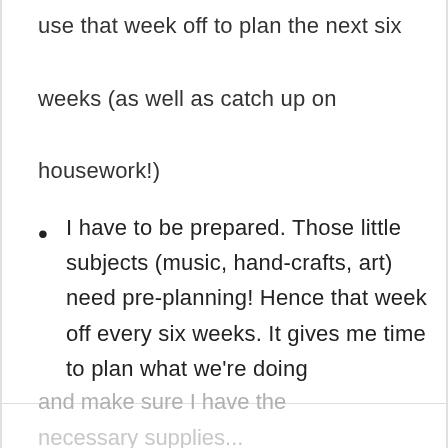use that week off to plan the next six weeks (as well as catch up on housework!)
I have to be prepared. Those little subjects (music, hand-crafts, art) need pre-planning! Hence that week off every six weeks. It gives me time to plan what we're doing
and make sure I have the necessary supplies...